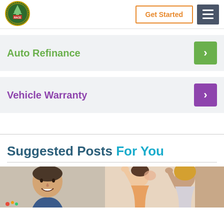[Figure (logo): Circular green and gold organization logo with tree and RACE text]
Get Started
[Figure (other): Hamburger menu icon (three white horizontal bars on dark gray background)]
Auto Refinance
Vehicle Warranty
Suggested Posts For You
[Figure (photo): Photo strip showing a smiling man on the left side and two people giving a high-five in the center/right]